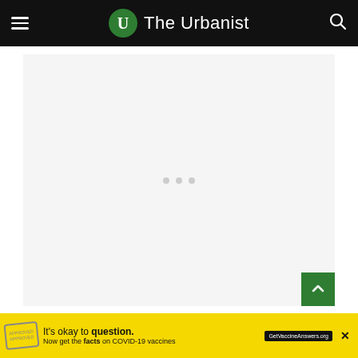The Urbanist
[Figure (other): Large advertisement placeholder area with light gray background and three small gray dots centered]
Previous article
Next article
The Case for a Ballard to UW Waterfront Rapid Bus
Could Floating Ports Provide a Different Way to
[Figure (other): Yellow advertisement banner at bottom: It's okay to question. Now get the facts on COVID-19 vaccines. GetVaccineAnswers.org]